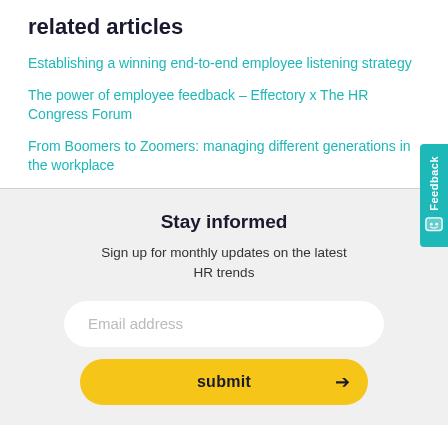related articles
Establishing a winning end-to-end employee listening strategy
The power of employee feedback – Effectory x The HR Congress Forum
From Boomers to Zoomers: managing different generations in the workplace
Stay informed
Sign up for monthly updates on the latest HR trends
Email address
submit